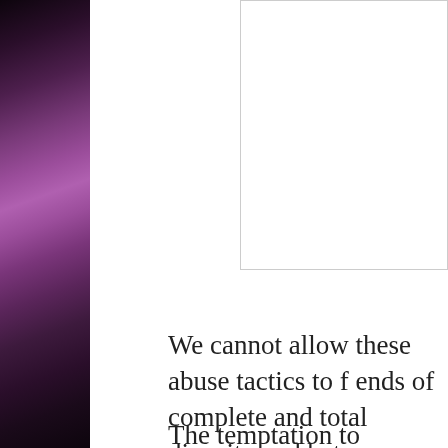[Figure (photo): Dark purple/maroon fabric or textile texture on the left side of the page]
[Figure (other): White rectangular box/image placeholder in the upper right area]
We cannot allow these abuse tactics to f ends of complete and total disunity and between blacks, whites, women, men, c "maskies" and "non maskies", old, youn hideous desire on the part of global, Ma crime families to fulfill the objectives e various corresponding documents has a of succeeding, -if the masses become f machinations.
The temptation to dehumanize cops, to b